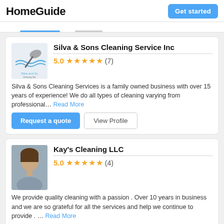HomeGuide | Get started
Silva & Sons Cleaning Service Inc
5.0 ★★★★★ (7)
Silva & Sons Cleaning Services is a family owned business with over 15 years of experience! We do all types of cleaning varying from professional... Read More
Request a quote | View Profile
Kay's Cleaning LLC
5.0 ★★★★★ (4)
We provide quality cleaning with a passion . Over 10 years in business and we are so grateful for all the services and help we continue to provide . ... Read More